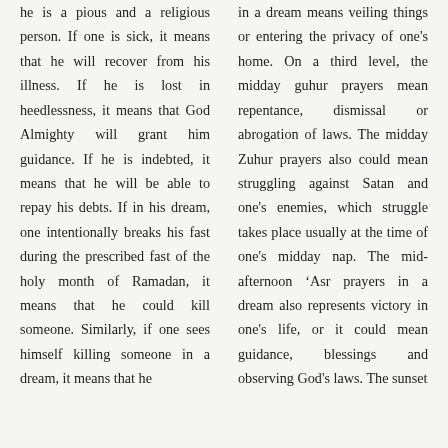he is a pious and a religious person. If one is sick, it means that he will recover from his illness. If he is lost in heedlessness, it means that God Almighty will grant him guidance. If he is indebted, it means that he will be able to repay his debts. If in his dream, one intentionally breaks his fast during the prescribed fast of the holy month of Ramadan, it means that he could kill someone. Similarly, if one sees himself killing someone in a dream, it means that he
in a dream means veiling things or entering the privacy of one's home. On a third level, the midday guhur prayers mean repentance, dismissal or abrogation of laws. The midday Zuhur prayers also could mean struggling against Satan and one's enemies, which struggle takes place usually at the time of one's midday nap. The mid-afternoon 'Asr prayers in a dream also represents victory in one's life, or it could mean guidance, blessings and observing God's laws. The sunset